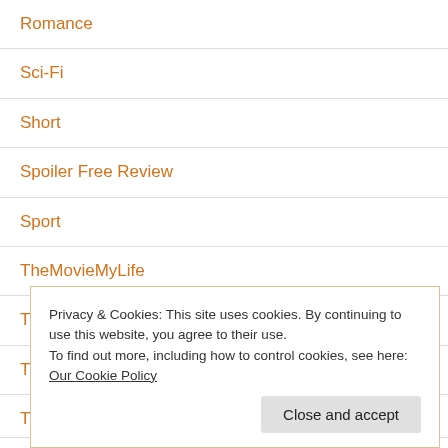Romance
Sci-Fi
Short
Spoiler Free Review
Sport
TheMovieMyLife
TheMovieMyLife | YouTube
Thriller
TV
Privacy & Cookies: This site uses cookies. By continuing to use this website, you agree to their use. To find out more, including how to control cookies, see here: Our Cookie Policy
Close and accept